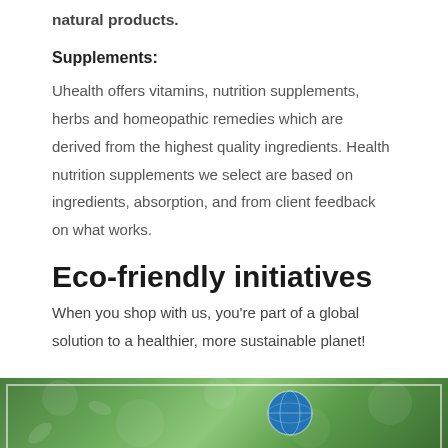natural products.
Supplements:
Uhealth offers vitamins, nutrition supplements, herbs and homeopathic remedies which are derived from the highest quality ingredients. Health nutrition supplements we select are based on ingredients, absorption, and from client feedback on what works.
Eco-friendly initiatives
When you shop with us, you're part of a global solution to a healthier, more sustainable planet!
[Figure (photo): Green leafy nature background with a globe, suggesting eco-friendly and sustainable themes]